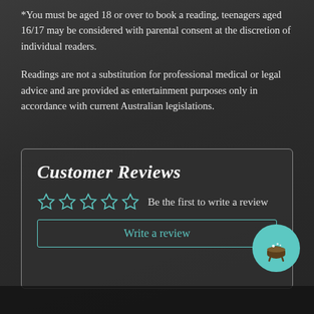*You must be aged 18 or over to book a reading, teenagers aged 16/17 may be considered with parental consent at the discretion of individual readers.
Readings are not a substitution for professional medical or legal advice and are provided as entertainment purposes only in accordance with current Australian legislations.
Customer Reviews
Be the first to write a review
Write a review